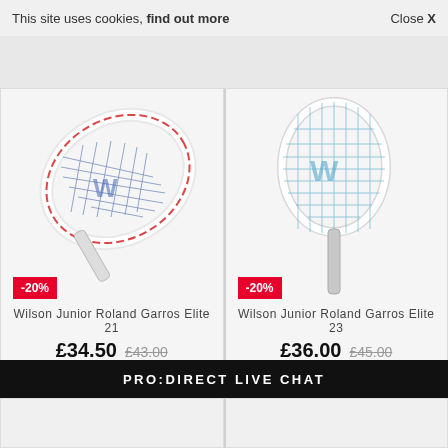This site uses cookies, find out more    Close X
[Figure (photo): Wilson Junior Roland Garros Elite 21 tennis racket, white frame with blue strings and Wilson logo, angled view]
-20%
Wilson Junior Roland Garros Elite 21
£34.50  £43.00
[Figure (photo): Wilson Junior Roland Garros Elite 23 tennis racket, white/silver frame with blue strings and Wilson logo, upright view]
-20%
Wilson Junior Roland Garros Elite 23
£36.00  £45.00
PRO:DIRECT LIVE CHAT